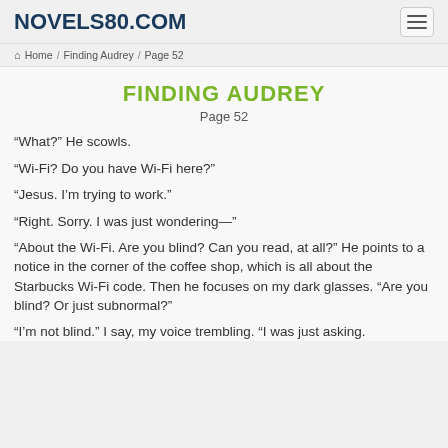NOVELS80.COM
Home / Finding Audrey / Page 52
FINDING AUDREY
Page 52
“What?” He scowls.
“Wi-Fi? Do you have Wi-Fi here?”
“Jesus. I’m trying to work.”
“Right. Sorry. I was just wondering—”
“About the Wi-Fi. Are you blind? Can you read, at all?” He points to a notice in the corner of the coffee shop, which is all about the Starbucks Wi-Fi code. Then he focuses on my dark glasses. “Are you blind? Or just subnormal?”
“I’m not blind.” I say, my voice trembling. “I was just asking.